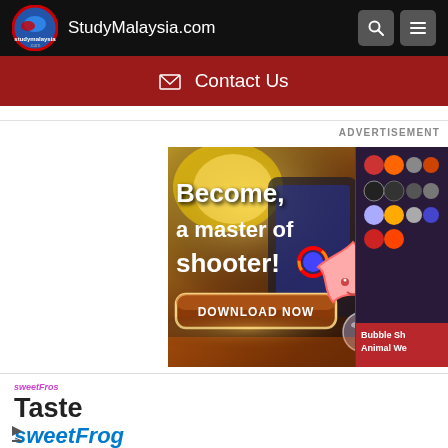StudyMalaysia.com
✉ Contact Us
ADVERTISEMENT
[Figure (screenshot): Advertisement banner for a mobile shooter game with text 'Become, a master of shooter!' and a 'DOWNLOAD NOW' button, with colorful game graphics]
[Figure (screenshot): Advertisement for sweetFrog frozen yogurt with text 'Taste' and 'sweetFrog' logo]